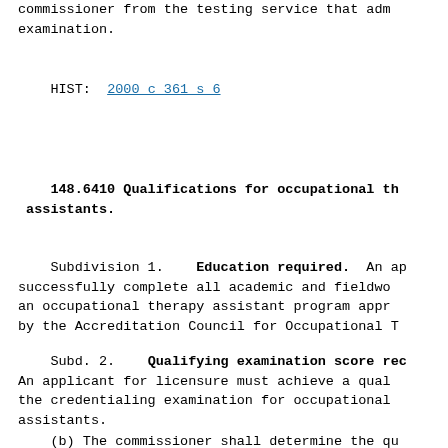commissioner from the testing service that adm examination.
HIST: 2000 c 361 s 6
148.6410 Qualifications for occupational th assistants.
Subdivision 1.    Education required.  An ap successfully complete all academic and fieldwo an occupational therapy assistant program appr by the Accreditation Council for Occupational T
Subd. 2.    Qualifying examination score rec An applicant for licensure must achieve a qual the credentialing examination for occupational assistants.
(b) The commissioner shall determine the qu